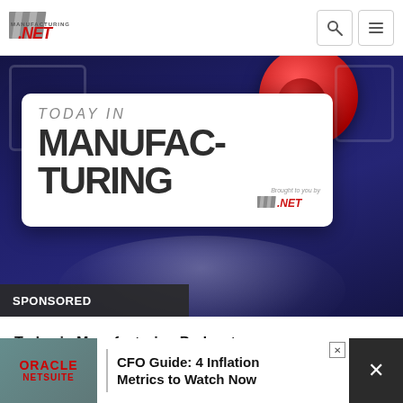Manufacturing.net
[Figure (screenshot): Today in Manufacturing podcast logo card on dark blue background with red circle microphone graphic. White card reads 'TODAY IN MANUFACTURING' with Manufacturing.net logo branding. 'SPONSORED' label overlaid at bottom left.]
Today in Manufacturing Podcast
Today in Manufacturing has a new podcast brought to you by the editors of Industrial Media. In each episode, we discuss the five biggest stories in manufacturing,...
August 4, 2022
[Figure (screenshot): Oracle NetSuite advertisement banner: 'CFO Guide: 4 Inflation Metrics to Watch Now' on dark background with close button.]